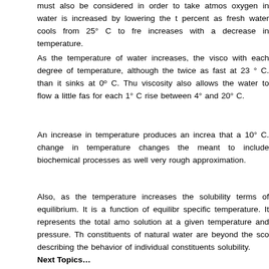must also be considered in order to take atmos... oxygen in water is increased by lowering the t... percent as fresh water cools from 25° C to fre... increases with a decrease in temperature.
As the temperature of water increases, the visco... with each degree of temperature, although the ... twice as fast at 23 ° C. than it sinks at 0º C. Thu... viscosity also allows the water to flow a little fas... for each 1° C rise between 4° and 20° C.
An increase in temperature produces an increa... that a 10° C. change in temperature changes the... meant to include biochemical processes as well ... very rough approximation.
Also, as the temperature increases the solubility... terms of equilibrium. It is a function of equilibr... specific temperature. It represents the total amo... solution at a given temperature and pressure. Th... constituents of natural water are beyond the sco... describing the behavior of individual constituents... solubility.
Next Topics…